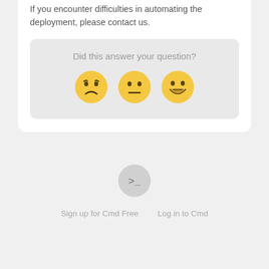If you encounter difficulties in automating the deployment, please contact us.
Did this answer your question?
[Figure (illustration): Three emoji faces: dissatisfied (frown), neutral, and happy (big grin) for feedback rating]
[Figure (logo): Cmd terminal logo — a grey circle with a command prompt arrow ('>_') inside]
Sign up for Cmd Free   Log in to Cmd